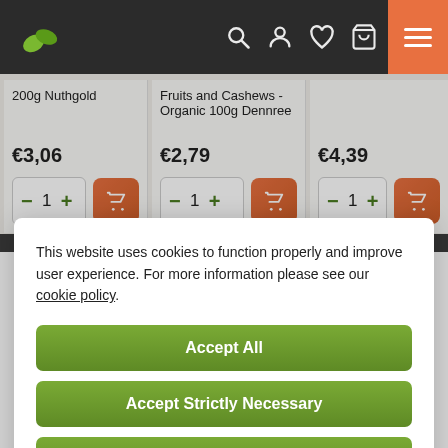[Figure (screenshot): Website navigation bar with green leaf logo, search icon, account icon, heart/wishlist icon, cart icon, and orange hamburger menu button on dark background]
200g Nuthgold
Fruits and Cashews - Organic 100g Dennree
€3,06
€2,79
€4,39
This website uses cookies to function properly and improve user experience. For more information please see our cookie policy.
Accept All
Accept Strictly Necessary
Settings